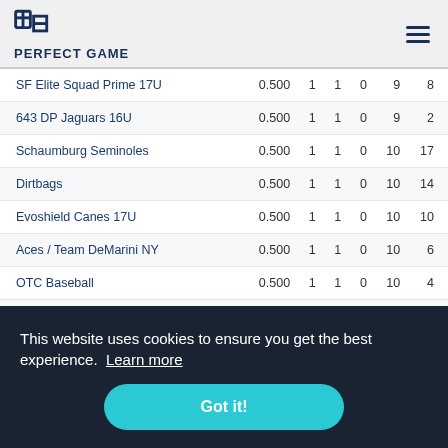PERFECT GAME
| Team | PCT | W | L | T | RS | RA |
| --- | --- | --- | --- | --- | --- | --- |
| SF Elite Squad Prime 17U | 0.500 | 1 | 1 | 0 | 9 | 8 |
| 643 DP Jaguars 16U | 0.500 | 1 | 1 | 0 | 9 | 2 |
| Schaumburg Seminoles | 0.500 | 1 | 1 | 0 | 10 | 17 |
| Dirtbags | 0.500 | 1 | 1 | 0 | 10 | 14 |
| Evoshield Canes 17U | 0.500 | 1 | 1 | 0 | 10 | 10 |
| Aces / Team DeMarini NY | 0.500 | 1 | 1 | 0 | 10 | 6 |
| OTC Baseball | 0.500 | 1 | 1 | 0 | 10 | 4 |
| East Cobb Braves 16U | 0.500 | 1 | 1 | 1 | 11 | 12 |
| Demarini Stars 17U White | 0.500 | 1 | 1 | 0 | 11 | 7 |
| Mac-N-Seitz Indians 17U Blue | 0.500 | 1 | 1 | 0 | 18 | 17 |
This website uses cookies to ensure you get the best experience. Learn more
Got it!